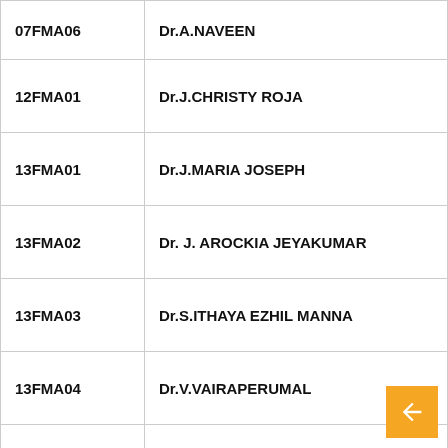| Code | Name |
| --- | --- |
| 07FMA06 | Dr.A.NAVEEN |
| 12FMA01 | Dr.J.CHRISTY ROJA |
| 13FMA01 | Dr.J.MARIA JOSEPH |
| 13FMA02 | Dr. J. AROCKIA JEYAKUMAR |
| 13FMA03 | Dr.S.ITHAYA EZHIL MANNA |
| 13FMA04 | Dr.V.VAIRAPERUMAL |
| 13FMA05 | Dr. GEETHA SIVARAMAN |
| 18FMA01 | Dr. J. AMALORPAVA JERLINE |